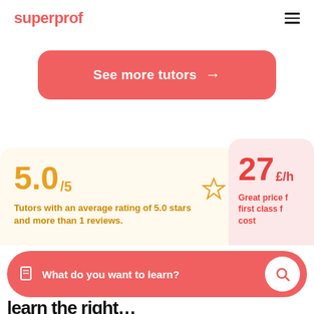superprof
See more tutors →
5.0/5 Tutors with an average rating of 5.0 stars and more than 1 reviews.
27 £/h Great price first class f... cost
What do you want to learn?